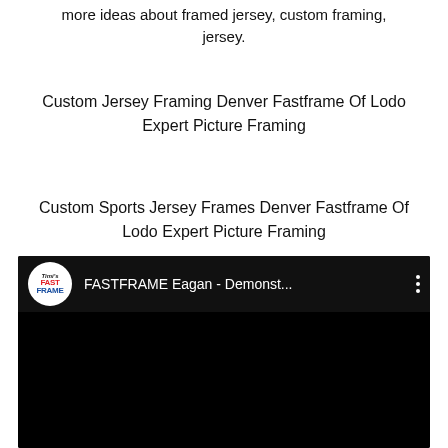more ideas about framed jersey, custom framing, jersey.
Custom Jersey Framing Denver Fastframe Of Lodo Expert Picture Framing
Custom Sports Jersey Frames Denver Fastframe Of Lodo Expert Picture Framing
[Figure (screenshot): YouTube video thumbnail showing FASTFRAME Eagan - Demonst... with Timi's Fast Frame logo circle and black video area]